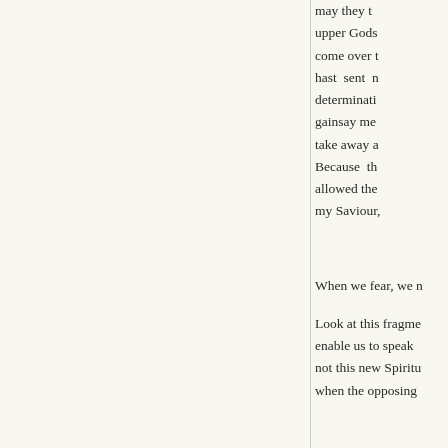may they ... upper Gods come over t hast sent n determinati gainsay me take away a Because th allowed the my Saviour,
When we fear, we n
Look at this fragme enable us to speak not this new Spiritu when the opposing